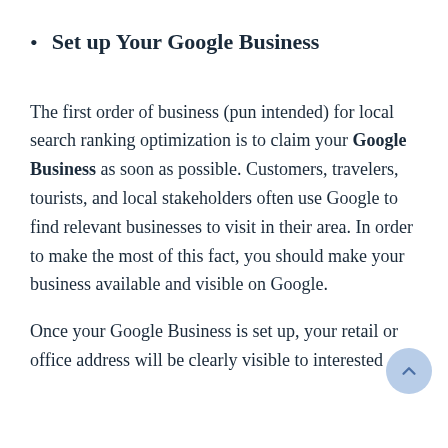Set up Your Google Business
The first order of business (pun intended) for local search ranking optimization is to claim your Google Business as soon as possible. Customers, travelers, tourists, and local stakeholders often use Google to find relevant businesses to visit in their area. In order to make the most of this fact, you should make your business available and visible on Google.
Once your Google Business is set up, your retail or office address will be clearly visible to interested